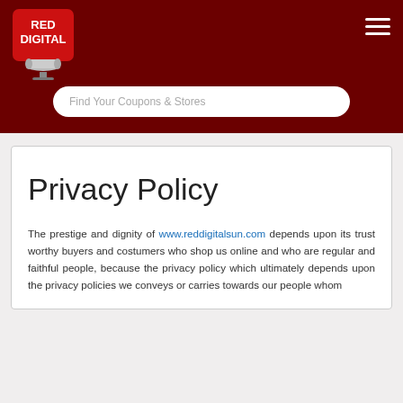[Figure (logo): Red Digital logo — red square with white text RED DIGITAL and a grey scroll/ribbon icon below]
Find Your Coupons & Stores
Privacy Policy
The prestige and dignity of www.reddigitalsun.com depends upon its trust worthy buyers and costumers who shop us online and who are regular and faithful people, because the privacy policy which ultimately depends upon the privacy policies we conveys or carries towards our people whom